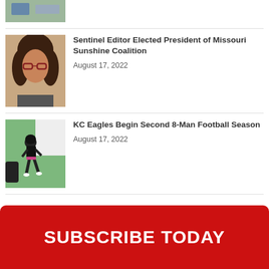[Figure (photo): Partial photo of an outdoor scene at the top of the page]
[Figure (photo): Headshot of a woman with curly hair and red-framed glasses]
Sentinel Editor Elected President of Missouri Sunshine Coalition
August 17, 2022
[Figure (photo): Photo of a football player in black uniform running on a field]
KC Eagles Begin Second 8-Man Football Season
August 17, 2022
SUBSCRIBE TODAY